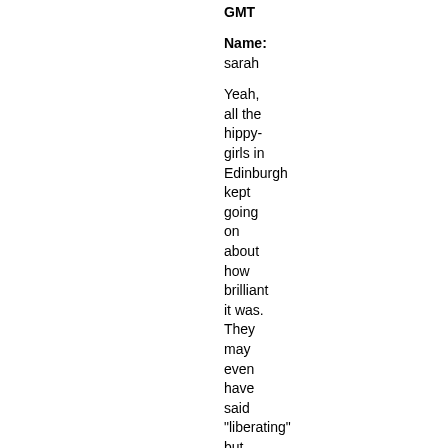GMT
Name:
sarah
Yeah,
all the
hippy-
girls in
Edinburgh
kept
going
on
about
how
brilliant
it was.
They
may
even
have
said
"liberating"
but
they
failed
to
mention